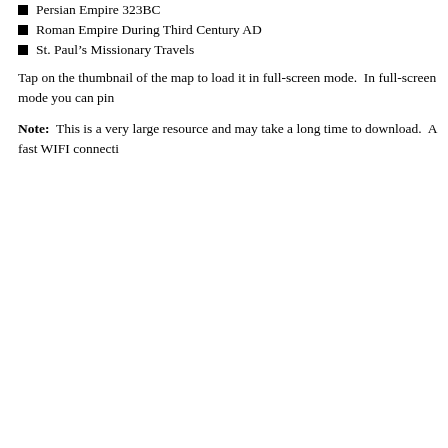Persian Empire 323BC
Roman Empire During Third Century AD
St. Paul's Missionary Travels
Tap on the thumbnail of the map to load it in full-screen mode.  In full-screen mode you can pin...
Note:  This is a very large resource and may take a long time to download.  A fast WIFI connecti...